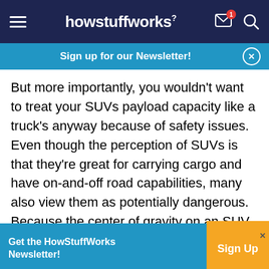howstuffworks
Sign up for our Newsletter!
But more importantly, you wouldn't want to treat your SUVs payload capacity like a truck's anyway because of safety issues. Even though the perception of SUVs is that they're great for carrying cargo and have on-and-off road capabilities, many also view them as potentially dangerous. Because the center of gravity on an SUV is typically much higher than a car's, they're much more likely to roll over, especially once they're overloaded.
Get the HowStuffWorks Newsletter! Sign Up